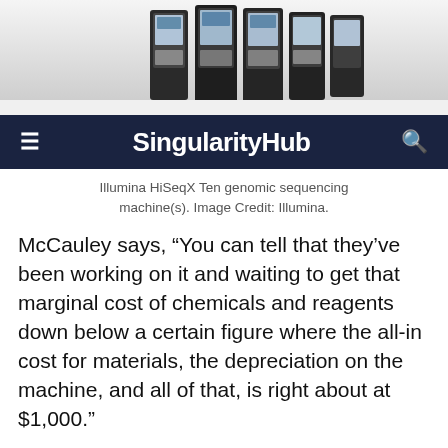[Figure (photo): Illumina HiSeqX Ten genomic sequencing machines arranged in a row, black and white equipment]
≡  SingularityHub  🔍
Illumina HiSeqX Ten genomic sequencing machine(s). Image Credit: Illumina.
McCauley says, “You can tell that they’ve been working on it and waiting to get that marginal cost of chemicals and reagents down below a certain figure where the all-in cost for materials, the depreciation on the machine, and all of that, is right about at $1,000.”
Even so, he went on to tell us, the numbers haven’t been nailed down yet.
The National Human Genome Research